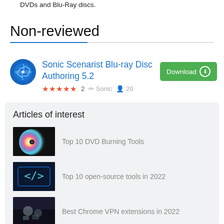DVDs and Blu-Ray discs.
Non-reviewed
Sonic Scenarist Blu-ray Disc Authoring 5.2
★★★★★ 2  ✏ Sonic  👤 20
Articles of interest
Top 10 DVD Burning Tools
Top 10 open-source tools in 2022
Best Chrome VPN extensions in 2022